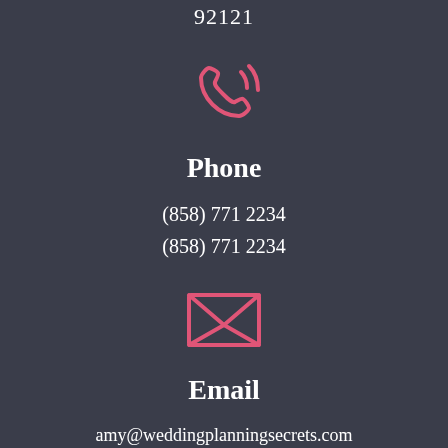92121
[Figure (illustration): Pink phone/call icon with signal waves]
Phone
(858) 771 2234
(858) 771 2234
[Figure (illustration): Pink envelope/email icon]
Email
amy@weddingplanningsecrets.com
amy@weddingplanningsecrets.com